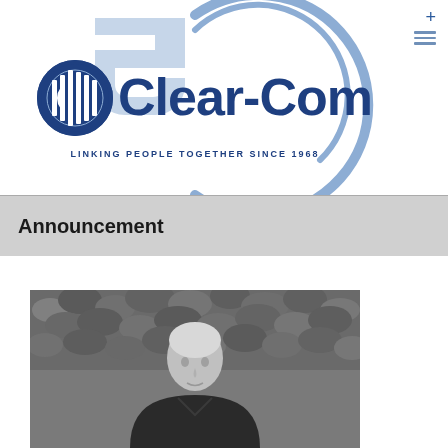[Figure (logo): Clear-Com logo with 50th anniversary arc design and tagline LINKING PEOPLE TOGETHER SINCE 1968]
Announcement
[Figure (photo): Black and white photograph of an elderly person standing in front of a hedge or foliage background]